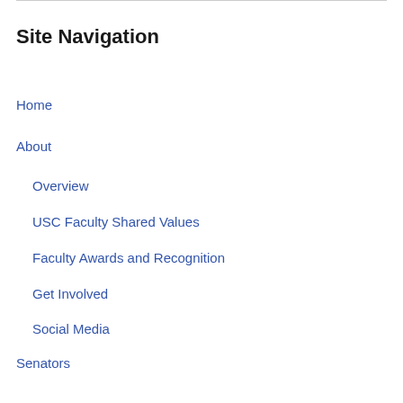Site Navigation
Home
About
Overview
USC Faculty Shared Values
Faculty Awards and Recognition
Get Involved
Social Media
Senators
Executive Board
Senators